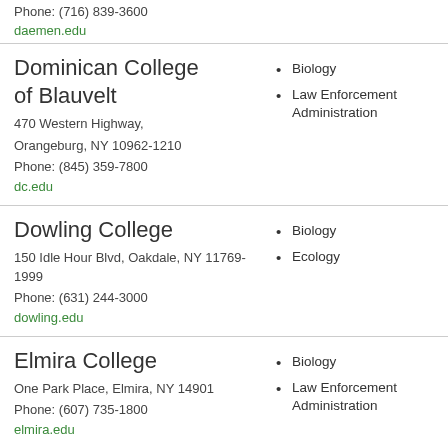Phone: (716) 839-3600
daemen.edu
Dominican College of Blauvelt
470 Western Highway, Orangeburg, NY 10962-1210
Phone: (845) 359-7800
dc.edu
Biology
Law Enforcement Administration
Dowling College
150 Idle Hour Blvd, Oakdale, NY 11769-1999
Phone: (631) 244-3000
dowling.edu
Biology
Ecology
Elmira College
One Park Place, Elmira, NY 14901
Phone: (607) 735-1800
elmira.edu
Biology
Law Enforcement Administration
Erie Community